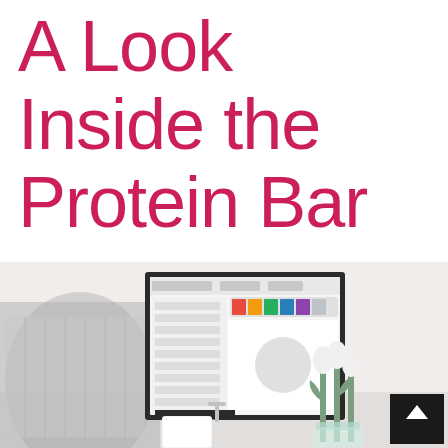A Look Inside the Protein Bar
[Figure (photo): Workspace scene with a desktop computer showing a design application, a white coffee cup, white tulips in a glass vase, and a gray knitted blanket draped over a chair. The image is partially desaturated giving a minimalist aesthetic.]